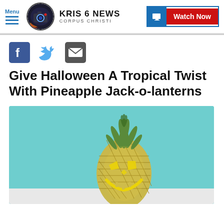KRIS 6 NEWS CORPUS CHRISTI — Watch Now
[Figure (logo): KRIS 6 News Corpus Christi logo with camera icon]
[Figure (infographic): Social sharing icons: Facebook, Twitter, Email]
Give Halloween A Tropical Twist With Pineapple Jack-o-lanterns
[Figure (photo): A pineapple carved as a jack-o-lantern with glowing yellow eyes and smile, set against a teal/turquoise background]